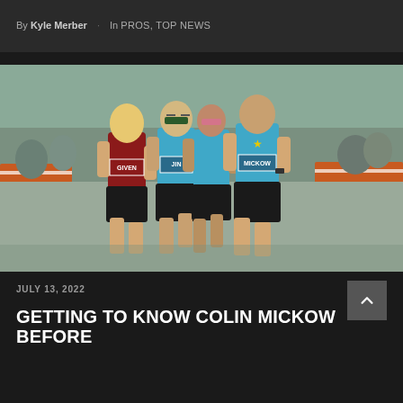By Kyle Merber · In PROS, TOP NEWS
[Figure (photo): Four male runners racing on a road course, three wearing blue singlets and one in a maroon singlet; bibs visible reading GIVEN and MICKOW; crowd and orange construction barriers in background]
JULY 13, 2022
GETTING TO KNOW COLIN MICKOW BEFORE